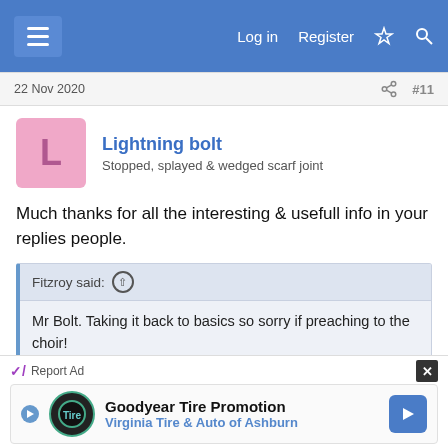Log in   Register
22 Nov 2020   #11
Lightning bolt
Stopped, splayed & wedged scarf joint
Much thanks for all the interesting & usefull info in your replies people.
Fitzroy said: 
Mr Bolt. Taking it back to basics so sorry if preaching to the choir!

Your VFD supplies direct to the motor, you can't change that.

Your VFD will have options for control circuits. These can
Report Ad
Goodyear Tire Promotion
Virginia Tire & Auto of Ashburn